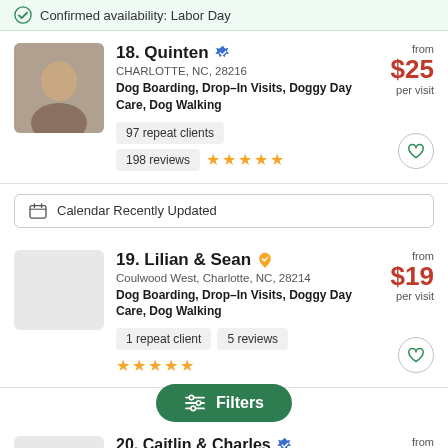Confirmed availability: Labor Day
18. Quinten — CHARLOTTE, NC, 28216 — Dog Boarding, Drop-In Visits, Doggy Day Care, Dog Walking — from $25 per visit — 97 repeat clients — 198 reviews — 5 stars
Calendar Recently Updated
19. Lilian & Sean — Coulwood West, Charlotte, NC, 28214 — Dog Boarding, Drop-In Visits, Doggy Day Care, Dog Walking — from $19 per visit — 1 repeat client — 5 reviews — 5 stars
20. Caitlin & Charles — Charlotte, NC, 28216 — from $15
Filters